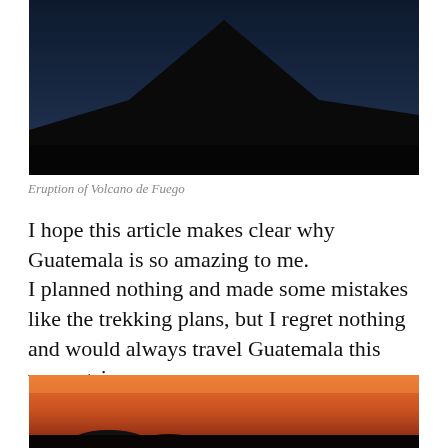[Figure (photo): Dark silhouette of a volcano peak against a deep blue night sky — Volcano de Fuego eruption photo]
Eruption of Volcano de Fuego
I hope this article makes clear why Guatemala is so amazing to me.
I planned nothing and made some mistakes like the trekking plans, but I regret nothing and would always travel Guatemala this way again.
[Figure (photo): Sunset or dusk photo with orange and pink sky, silhouetted figures/landscape at the bottom — partial view cropped at page bottom]